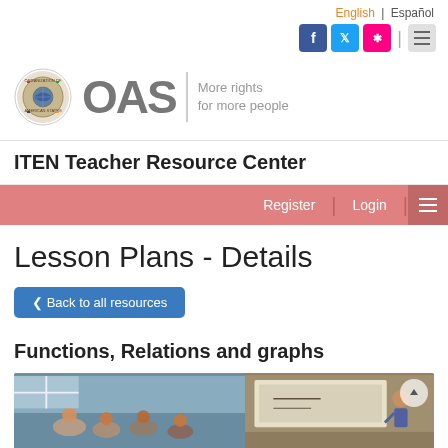English | Español
[Figure (logo): OAS logo with seal and tagline 'More rights for more people']
ITEN Teacher Resource Center
Register | Login | menu
Lesson Plans - Details
Back to all resources
Functions, Relations and graphs
[Figure (photo): Two classroom photos showing students and a teacher at a board]